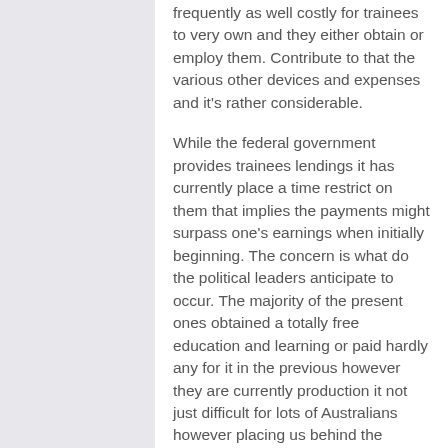frequently as well costly for trainees to very own and they either obtain or employ them. Contribute to that the various other devices and expenses and it's rather considerable.
While the federal government provides trainees lendings it has currently place a time restrict on them that implies the payments might surpass one's earnings when initially beginning. The concern is what do the political leaders anticipate to occur. The majority of the present ones obtained a totally free education and learning or paid hardly any for it in the previous however they are currently production it not just difficult for lots of Australians however placing us behind the remainder of the world in the education and learning risks.
The college trainees are protesting